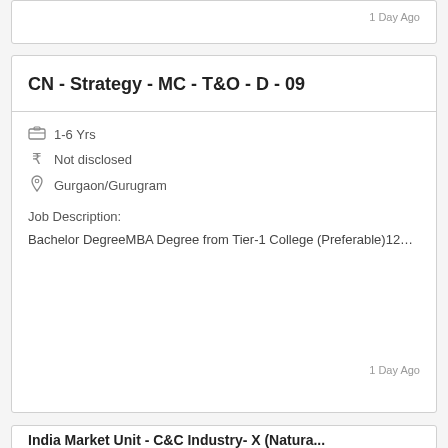1 Day Ago
CN - Strategy - MC - T&O - D - 09
1-6 Yrs
Not disclosed
Gurgaon/Gurugram
Job Description:
Bachelor DegreeMBA Degree from Tier-1 College (Preferable)12…
1 Day Ago
India Market Unit - C&C Industry- X (Natura...